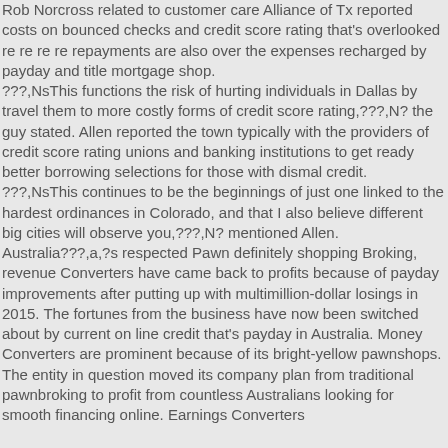Rob Norcross related to customer care Alliance of Tx reported costs on bounced checks and credit score rating that's overlooked re re re re repayments are also over the expenses recharged by payday and title mortgage shop.
???,NsThis functions the risk of hurting individuals in Dallas by travel them to more costly forms of credit score rating,???,N? the guy stated. Allen reported the town typically with the providers of credit score rating unions and banking institutions to get ready better borrowing selections for those with dismal credit.
???,NsThis continues to be the beginnings of just one linked to the hardest ordinances in Colorado, and that I also believe different big cities will observe you,???,N? mentioned Allen.
Australia???,a,?s respected Pawn definitely shopping Broking, revenue Converters have came back to profits because of payday improvements after putting up with multimillion-dollar losings in 2015. The fortunes from the business have now been switched about by current on line credit that's payday in Australia. Money Converters are prominent because of its bright-yellow pawnshops. The entity in question moved its company plan from traditional pawnbroking to profit from countless Australians looking for smooth financing online. Earnings Converters